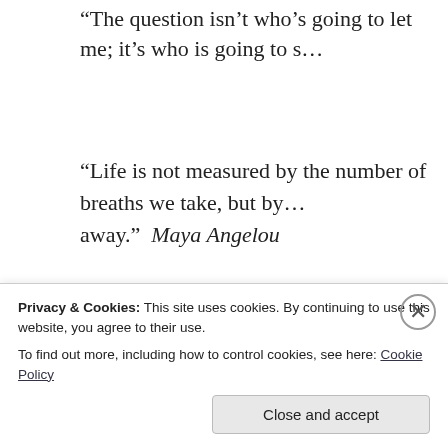“The question isn’t who’s going to let me; it’s who is going to s…
“Life is not measured by the number of breaths we take, but by the moments that take our breath away.”  Maya Angelou
“You have to have confidence in your ability, and then be tough…  Rosalyn Carter
“Remember no one can make you feel inferior without your con…
Privacy & Cookies: This site uses cookies. By continuing to use this website, you agree to their use.
To find out more, including how to control cookies, see here: Cookie Policy
Close and accept